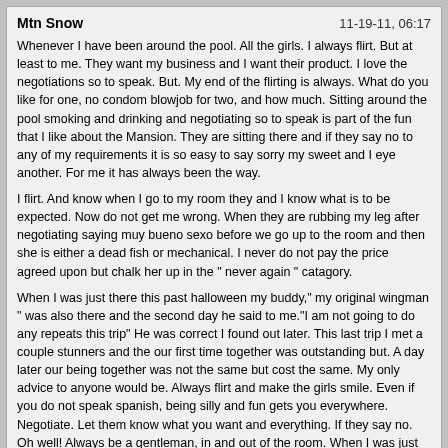Mtn Snow | 11-19-11, 06:17
Whenever I have been around the pool. All the girls. I always flirt. But at least to me. They want my business and I want their product. I love the negotiations so to speak. But. My end of the flirting is always. What do you like for one, no condom blowjob for two, and how much. Sitting around the pool smoking and drinking and negotiating so to speak is part of the fun that I like about the Mansion. They are sitting there and if they say no to any of my requirements it is so easy to say sorry my sweet and I eye another. For me it has always been the way.

I flirt. And know when I go to my room they and I know what is to be expected. Now do not get me wrong. When they are rubbing my leg after negotiating saying muy bueno sexo before we go up to the room and then she is either a dead fish or mechanical. I never do not pay the price agreed upon but chalk her up in the " never again " catagory.

When I was just there this past halloween my buddy," my original wingman " was also there and the second day he said to me."I am not going to do any repeats this trip" He was correct I found out later. This last trip I met a couple stunners and the our first time together was outstanding but. A day later our being together was not the same but cost the same. My only advice to anyone would be. Always flirt and make the girls smile. Even if you do not speak spanish, being silly and fun gets you everywhere. Negotiate. Let them know what you want and everything. If they say no. Oh well! Always be a gentleman, in and out of the room. When I was just there a girl I did not know asked me about another male guest, if he was bad " malo", I did not know him at all but she and some of her friends had already sized him up so to speak and had written him off. You do not want to be turned down by a hooker, it makes no sense and they have already told all their friends. Anyway. My two cents.
Chesscat | 11-19-11, 16:11
I enjoyed the post by the esteemed Hasideas. I don't have a formula that I would recommend, but I generally have a good time. Instead of always looking for new girls, when I have been with one and it was very good, I go back to the